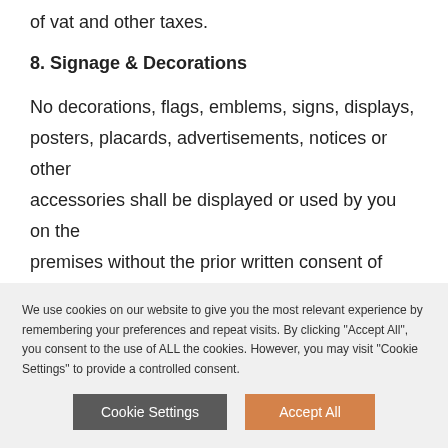of vat and other taxes.
8. Signage & Decorations
No decorations, flags, emblems, signs, displays, posters, placards, advertisements, notices or other accessories shall be displayed or used by you on the premises without the prior written consent of Rockwater. Such consent must be obtained no later
We use cookies on our website to give you the most relevant experience by remembering your preferences and repeat visits. By clicking "Accept All", you consent to the use of ALL the cookies. However, you may visit "Cookie Settings" to provide a controlled consent.
Cookie Settings
Accept All